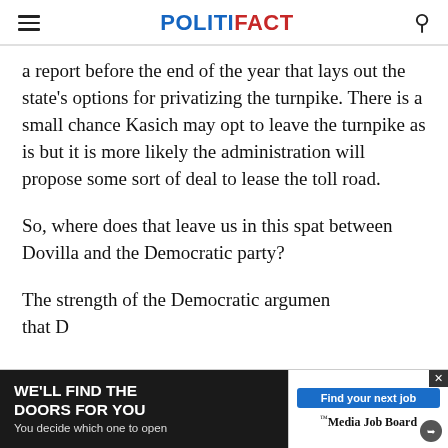POLITIFACT
a report before the end of the year that lays out the state's options for privatizing the turnpike. There is a small chance Kasich may opt to leave the turnpike as is but it is more likely the administration will propose some sort of deal to lease the toll road.
So, where does that leave us in this spat between Dovilla and the Democratic party?
The strength of the Democratic argumen... that D...
[Figure (screenshot): Advertisement banner: 'WE'LL FIND THE DOORS FOR YOU – You decide which one to open' on dark background, with 'Find your next job – Media Job Board' on the right side.]